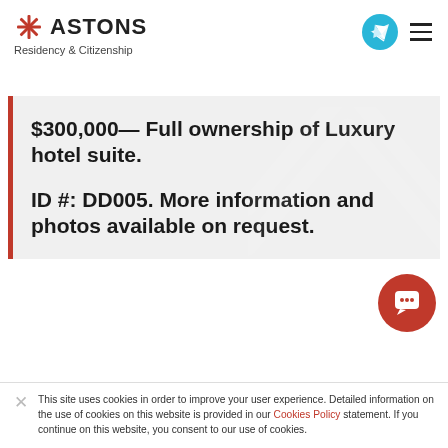ASTONS Residency & Citizenship
$300,000— Full ownership of Luxury hotel suite.

ID #: DD005. More information and photos available on request.
This site uses cookies in order to improve your user experience. Detailed information on the use of cookies on this website is provided in our Cookies Policy statement. If you continue on this website, you consent to our use of cookies.